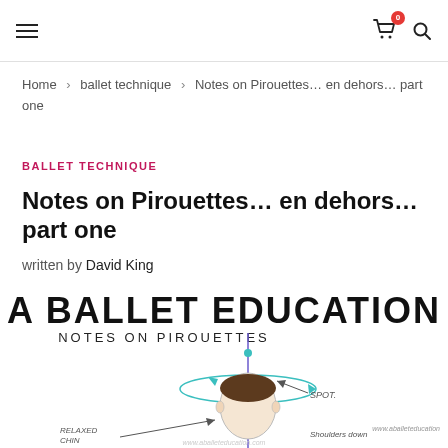Navigation header with hamburger menu, cart icon (badge: 0), and search icon
Home > ballet technique > Notes on Pirouettes… en dehors… part one
BALLET TECHNIQUE
Notes on Pirouettes… en dehors… part one
written by David King
[Figure (illustration): A Ballet Education – Notes on Pirouettes illustration showing a head with axis line, spotting arc, labels: RELAXED CHIN, SPOT., Shoulders down, Axis. Watermark: www.aballeteducation]